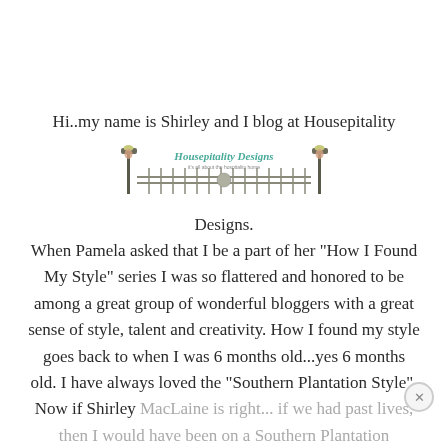Hi..my name is Shirley and I blog at Housepitality
[Figure (logo): Housepitality Designs logo with decorative street lamps and fence/gate imagery, script text reading 'Housepitality Designs']
Designs. When Pamela asked that I be a part of her "How I Found My Style" series I was so flattered and honored to be among a great group of wonderful bloggers with a great sense of style, talent and creativity. How I found my style goes back to when I was 6 months old...yes 6 months old. I have always loved the "Southern Plantation Style". Now if Shirley MacLaine is right... if we had past lives, then I would have been on a Southern Plantation hopefully with Rhett Butler. The South, known for its hospitality